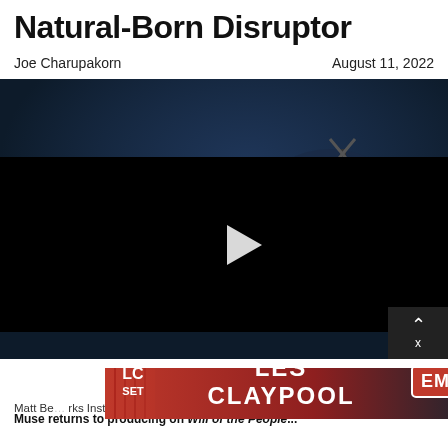Natural-Born Disruptor
Joe Charupakorn
August 11, 2022
[Figure (photo): Concert photo showing guitarist in gold jacket with sunglasses and drummer in background, overlaid with a video player (black box with play button). Bottom right corner has a close button with chevron up and X.]
[Figure (photo): Advertisement banner for Les Claypool LC Set featuring EMG pickups, red background with guitar imagery and LC SET / LES CLAYPOOL / EMG branding]
Matt Be... Instrum... Manso... rks n Grande
Muse returns to producing on Will of the People...